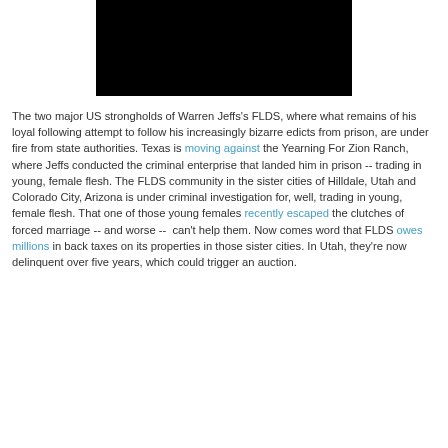[Figure (photo): Dark/black photograph, likely a portrait image, partially visible at top of page]
The two major US strongholds of Warren Jeffs's FLDS, where what remains of his loyal following attempt to follow his increasingly bizarre edicts from prison, are under fire from state authorities. Texas is moving against the Yearning For Zion Ranch, where Jeffs conducted the criminal enterprise that landed him in prison -- trading in young, female flesh. The FLDS community in the sister cities of Hilldale, Utah and Colorado City, Arizona is under criminal investigation for, well, trading in young, female flesh. That one of those young females recently escaped the clutches of forced marriage -- and worse --  can't help them. Now comes word that FLDS owes millions in back taxes on its properties in those sister cities. In Utah, they're now delinquent over five years, which could trigger an auction.